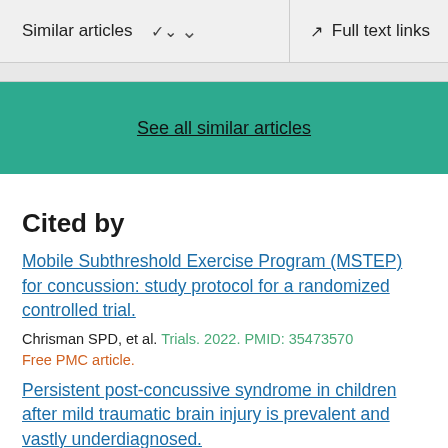Similar articles   Full text links
See all similar articles
Cited by
Mobile Subthreshold Exercise Program (MSTEP) for concussion: study protocol for a randomized controlled trial.
Chrisman SPD, et al. Trials. 2022. PMID: 35473570
Free PMC article.
Persistent post-concussive syndrome in children after mild traumatic brain injury is prevalent and vastly underdiagnosed.
Fried E, et al. Sci Rep. 2022. PMID: 35288616 Free PMC article.